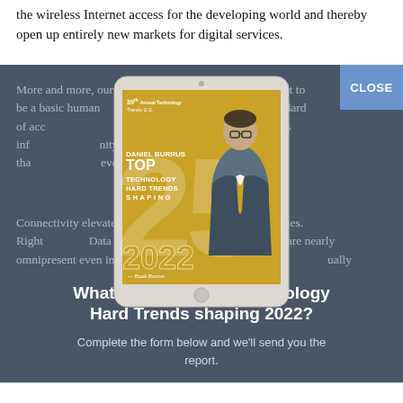the wireless Internet access for the developing world and thereby open up entirely new markets for digital services.
More and more, our world is coming to consider Internet to be a basic human right, similar to clean water. A new standard of access is emerging, and connecting to the Internet provides information and opportunity for such a relative low cost that it is becoming, or even cruel, to deny it to anyone.
Connectivity elevates all of us and opens up amazing opportunities. Right now, reports from Global show that basic cell phones are nearly omnipresent even in the most impoverished areas of the globe and smartphones are rapidly becoming commonplace among lower-income earners, but the connectivity to serve all those smart phones isn't yet in place.
[Figure (illustration): Tablet device showing book cover: '39th Annual Technology Trends U.S. Top 25 Technology Hard Trends Shaping 2022' by Daniel Burrus, with large gold 25 and man in suit on cover]
What are the top 25 Technology Hard Trends shaping 2022?
Complete the form below and we'll send you the report.
CLOSE